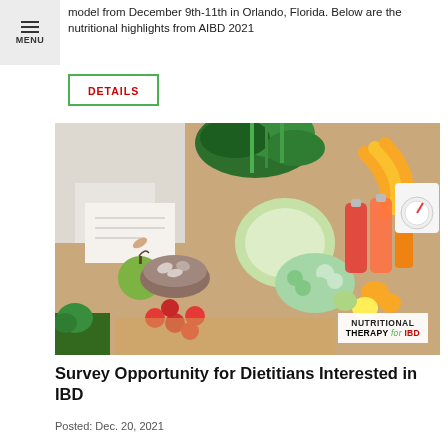MENU
model from December 9th-11th in Orlando, Florida. Below are the nutritional highlights from AIBD 2021
DETAILS
[Figure (photo): Photo of a nutrition consultation setting with fresh vegetables, fruits, juices, nuts and a weighing scale on a wooden cutting board, with a person writing in the background. Watermark: NUTRITIONAL THERAPY for IBD]
Survey Opportunity for Dietitians Interested in IBD
Posted: Dec. 20, 2021